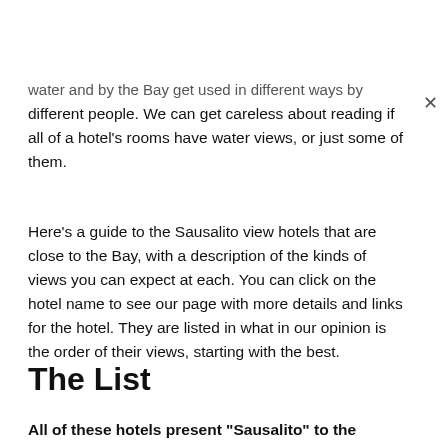water  and  by the Bay  get used in different ways by different people.  We can get careless about reading if all of a hotel's rooms have water views, or just some of them.
Here's a guide to the Sausalito view hotels that are close to the Bay, with a description of the kinds of views you can expect at each.  You can click on the hotel name to see our page with more details and links for the hotel.  They are listed in what in our opinion is the order of their views, starting with the best.
The List
All of these hotels present "Sausalito" to the Sausalito...